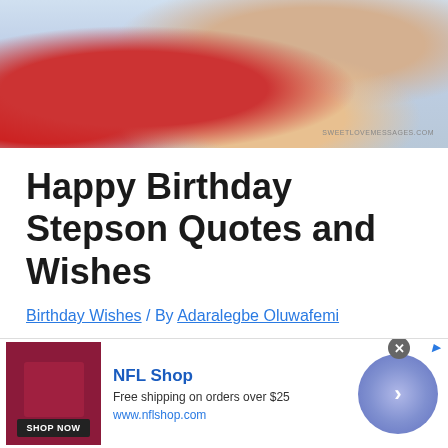[Figure (photo): Photo of a child in a red polo shirt holding a gift, surrounded by presents, with watermark SWEETLOVEMESSAGES.COM]
Happy Birthday Stepson Quotes and Wishes
Birthday Wishes / By Adaralegbe Oluwafemi
[Figure (infographic): NFL Shop advertisement banner: shop image with red jersey, NFL Shop brand, Free shipping on orders over $25, www.nflshop.com, SHOP NOW button, circular arrow navigation element]